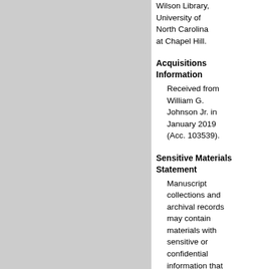Wilson Library, University of North Carolina at Chapel Hill.
Acquisitions Information
Received from William G. Johnson Jr. in January 2019 (Acc. 103539).
Sensitive Materials Statement
Manuscript collections and archival records may contain materials with sensitive or confidential information that is protected under federal or state right to privacy laws and